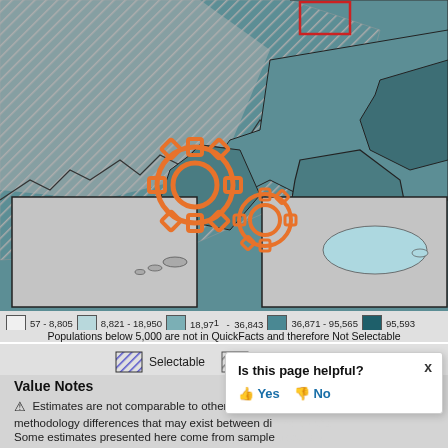[Figure (map): US map showing geographic regions colored by population range with teal/blue shading. Two inset boxes show Hawaii (left) and Puerto Rico (right). Orange gear icons overlay the center of the map. Hatched gray region in upper left. A red outlined region visible at top center.]
57 - 8,805   8,821 - 18,950   18,971 - 36,843   36,871 - 95,565   95,593
Populations below 5,000 are not in QuickFacts and therefore Not Selectable
Selectable   Not Selectable
Value Notes
⚠ Estimates are not comparable to other geographies due to methodology differences that may exist between different data sources.
Some estimates presented here come from sample data, and sampling errors that may render some apparent differences between...
Is this page helpful?  👍 Yes   👎 No